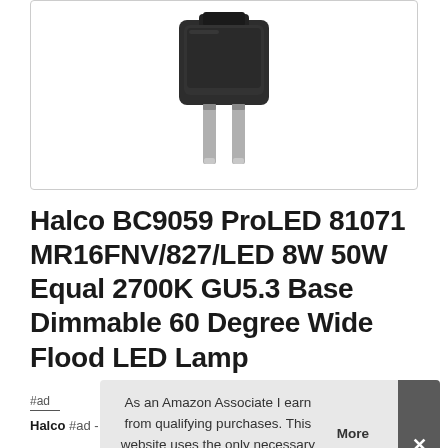[Figure (photo): A dark-colored electrical plug/adapter with two metal prongs, photographed against a white background inside a bordered product image box.]
Halco BC9059 ProLED 81071 MR16FNV/827/LED 8W 50W Equal 2700K GU5.3 Base Dimmable 60 Degree Wide Flood LED Lamp
As an Amazon Associate I earn from qualifying purchases. This website uses the only necessary cookies to ensure you get the best experience on our website. More information
#ad - Purpose of use for Light Bulbs, led-household-light-